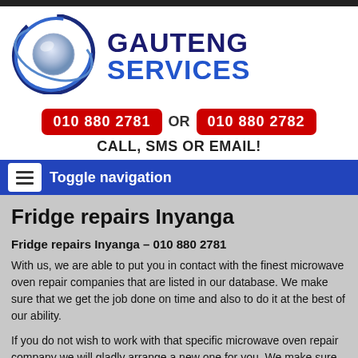[Figure (logo): Gauteng Services logo with globe and swoosh graphic on left, and GAUTENG SERVICES text in dark blue and blue on right]
010 880 2781 OR 010 880 2782
CALL, SMS OR EMAIL!
Toggle navigation
Fridge repairs Inyanga
Fridge repairs Inyanga – 010 880 2781
With us, we are able to put you in contact with the finest microwave oven repair companies that are listed in our database. We make sure that we get the job done on time and also to do it at the best of our ability.
If you do not wish to work with that specific microwave oven repair company we will gladly arrange a new one for you. We make sure we